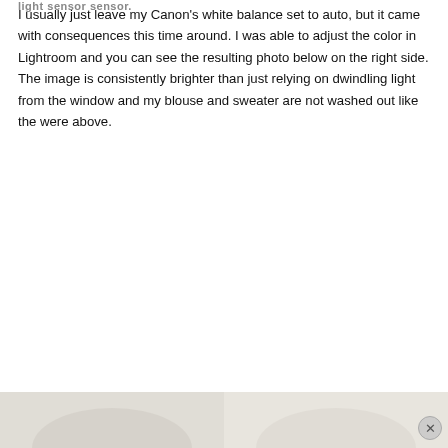light sensor sensor.
I usually just leave my Canon's white balance set to auto, but it came with consequences this time around. I was able to adjust the color in Lightroom and you can see the resulting photo below on the right side. The image is consistently brighter than just relying on dwindling light from the window and my blouse and sweater are not washed out like the were above.
[Figure (photo): Two side-by-side photos of a woman with long brown hair holding a Canon DSLR camera up toward her face, smiling. Behind her is a framed piece of art with cursive text. Left photo appears slightly cooler/dimmer in tone; right photo appears warmer/brighter. Both photos are cropped showing roughly chest-up. A strip of a second pair of photos is visible at the very bottom of the page, partially cut off.]